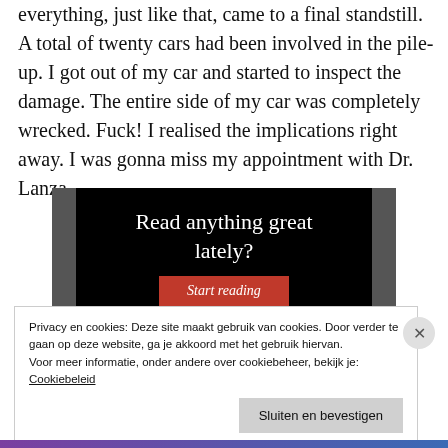everything, just like that, came to a final standstill. A total of twenty cars had been involved in the pile-up. I got out of my car and started to inspect the damage. The entire side of my car was completely wrecked. Fuck! I realised the implications right away. I was gonna miss my appointment with Dr. Lanza.
[Figure (screenshot): Advertisement banner with black background showing text 'Read anything great lately?' and a red 'Start reading' button, with grey side panels]
Privacy en cookies: Deze site maakt gebruik van cookies. Door verder te gaan op deze website, ga je akkoord met het gebruik hiervan.
Voor meer informatie, onder andere over cookiebeheer, bekijk je:
Cookiebeleid
Sluiten en bevestigen